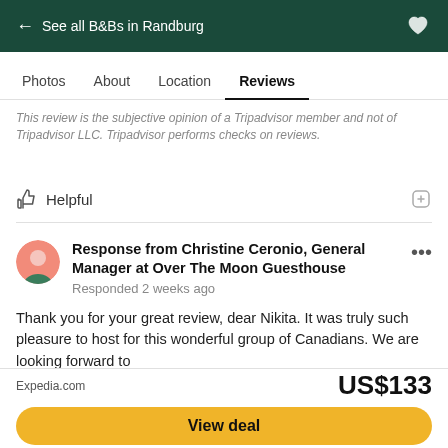← See all B&Bs in Randburg
Photos   About   Location   Reviews
This review is the subjective opinion of a Tripadvisor member and not of Tripadvisor LLC. Tripadvisor performs checks on reviews.
Helpful
Response from Christine Ceronio, General Manager at Over The Moon Guesthouse
Responded 2 weeks ago

Thank you for your great review, dear Nikita. It was truly such pleasure to host for this wonderful group of Canadians. We are looking forward to
Read more
This response is the subjective opinion of the management representative
Expedia.com   US$133
View deal